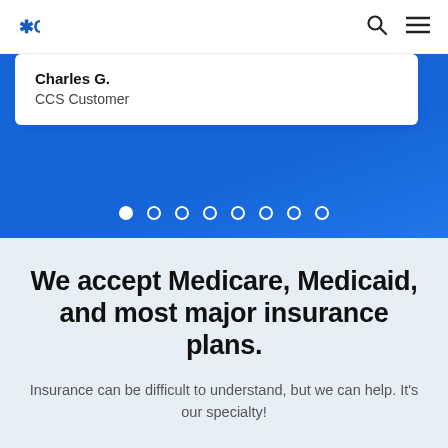CCS
Charles G.
CCS Customer
[Figure (other): Carousel navigation dots, 8 circles, first one filled (active), rest are outlines on blue background]
We accept Medicare, Medicaid, and most major insurance plans.
Insurance can be difficult to understand, but we can help. It's our specialty!